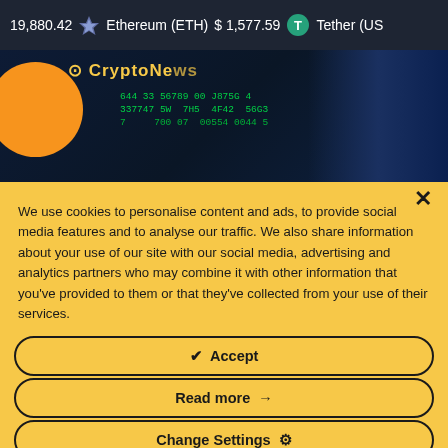19,880.42   Ethereum (ETH)   $1,577.59   Tether (USD)
[Figure (screenshot): Crypto news website hero image with orange bitcoin-style coin, CryptoNews logo, and green matrix-style code overlay on dark blue background]
We use cookies to personalise content and ads, to provide social media features and to analyse our traffic. We also share information about your use of our site with our social media, advertising and analytics partners who may combine it with other information that you've provided to them or that they've collected from your use of their services.
✔  Accept
Read more  →
Change Settings  ⚙